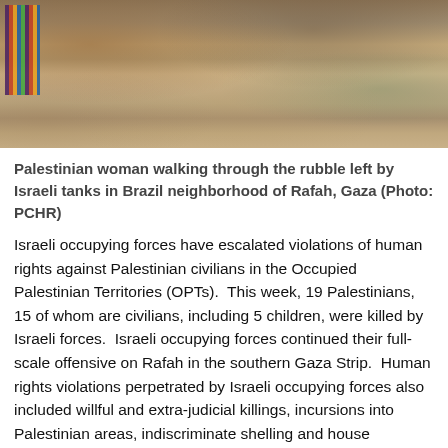[Figure (photo): Palestinian woman walking through rubble left by Israeli tanks in Brazil neighborhood of Rafah, Gaza. Photo credited to PCHR.]
Palestinian woman walking through the rubble left by Israeli tanks in Brazil neighborhood of Rafah, Gaza (Photo: PCHR)
Israeli occupying forces have escalated violations of human rights against Palestinian civilians in the Occupied Palestinian Territories (OPTs).  This week, 19 Palestinians, 15 of whom are civilians, including 5 children, were killed by Israeli forces.  Israeli occupying forces continued their full-scale offensive on Rafah in the southern Gaza Strip.  Human rights violations perpetrated by Israeli occupying forces also included willful and extra-judicial killings, incursions into Palestinian areas, indiscriminate shelling and house demolitions.  Israeli occupying forces have also continued construction of the “Annexation Wall” inside the West Bank